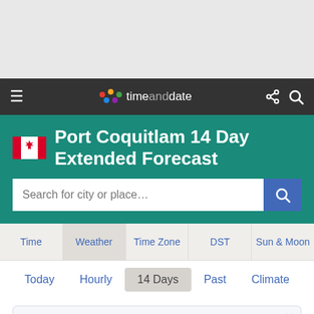[Figure (other): Gray advertisement/placeholder area at top of page]
≡  timeanddate  ⋮< 🔍
Port Coquitlam 14 Day Extended Forecast
Search for city or place…
Time  Weather  Time Zone  DST  Sun & Moon
Today  Hourly  14 Days  Past  Climate
Currently: 69 °F. Mild. (Weather station: P. Meadows